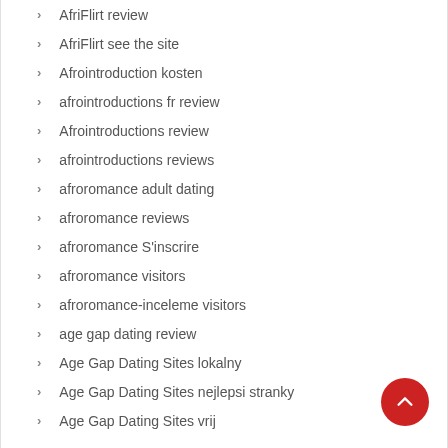AfriFlirt review
AfriFlirt see the site
Afrointroduction kosten
afrointroductions fr review
Afrointroductions review
afrointroductions reviews
afroromance adult dating
afroromance reviews
afroromance S'inscrire
afroromance visitors
afroromance-inceleme visitors
age gap dating review
Age Gap Dating Sites lokalny
Age Gap Dating Sites nejlepsi stranky
Age Gap Dating Sites vrij